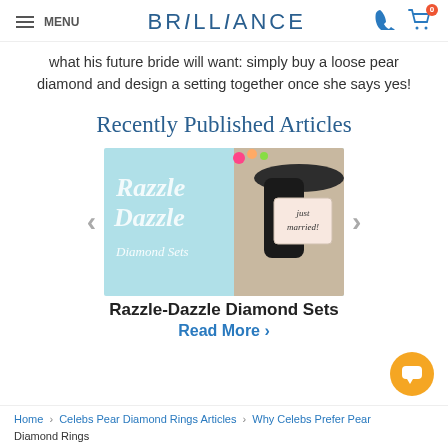MENU | BRILLIANCE | phone | cart (0)
what his future bride will want: simply buy a loose pear diamond and design a setting together once she says yes!
Recently Published Articles
[Figure (illustration): Promotional banner image showing 'Razzle Dazzle Diamond Sets' text overlaid on a light blue background, with a photo of a woman in a wide-brimmed hat holding a 'Just Married' sign]
Razzle-Dazzle Diamond Sets
Read More >
Home › Celebs Pear Diamond Rings Articles › Why Celebs Prefer Pear Diamond Rings